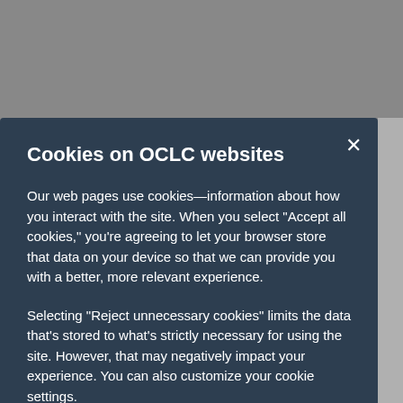[Figure (screenshot): Gray backdrop behind a cookie consent modal dialog]
Cookies on OCLC websites
Our web pages use cookies—information about how you interact with the site. When you select “Accept all cookies,” you’re agreeing to let your browser store that data on your device so that we can provide you with a better, more relevant experience.
Selecting “Reject unnecessary cookies” limits the data that’s stored to what’s strictly necessary for using the site. However, that may negatively impact your experience. You can also customize your cookie settings.
See our Cookie Notice for more information
Accept all cookies
Reject unnecessary cookies